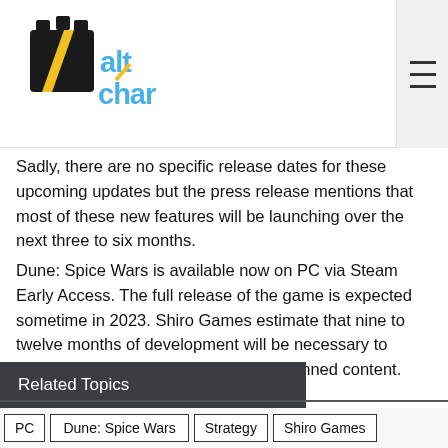AltChar logo and navigation menu
Sadly, there are no specific release dates for these upcoming updates but the press release mentions that most of these new features will be launching over the next three to six months.
Dune: Spice Wars is available now on PC via Steam Early Access. The full release of the game is expected sometime in 2023. Shiro Games estimate that nine to twelve months of development will be necessary to reach all milestones and implement planned content.
Related Topics
PC
Dune: Spice Wars
Strategy
Shiro Games